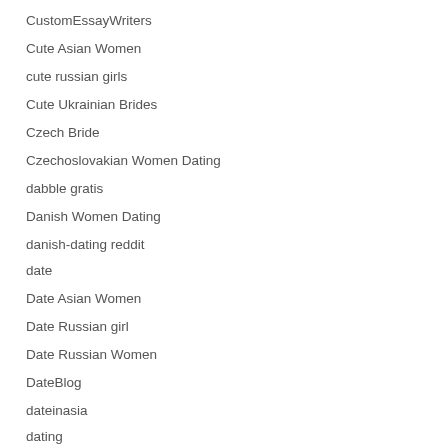CustomEssayWriters
Cute Asian Women
cute russian girls
Cute Ukrainian Brides
Czech Bride
Czechoslovakian Women Dating
dabble gratis
Danish Women Dating
danish-dating reddit
date
Date Asian Women
Date Russian girl
Date Russian Women
DateBlog
dateinasia
dating